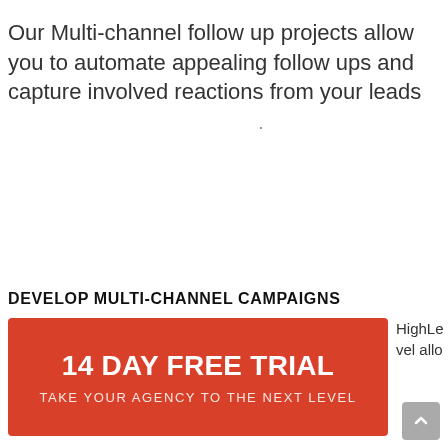Our Multi-channel follow up projects allow you to automate appealing follow ups and capture involved reactions from your leads .
DEVELOP MULTI-CHANNEL CAMPAIGNS
[Figure (infographic): Red banner call-to-action button with white text '14 DAY FREE TRIAL' and subtitle 'TAKE YOUR AGENCY TO THE NEXT LEVEL']
HighLevel allo